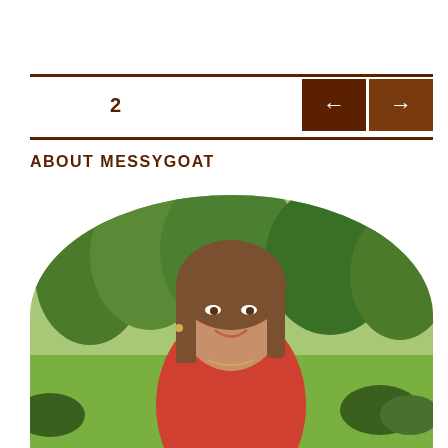2
ABOUT MESSYGOAT
[Figure (photo): Circular/arch-cropped portrait photo of a smiling woman with shoulder-length brown hair, wearing a red top, standing outdoors in front of green trees and shrubs.]